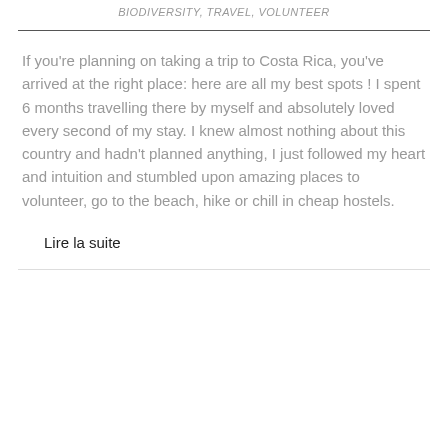BIODIVERSITY, TRAVEL, VOLUNTEER
If you're planning on taking a trip to Costa Rica, you've arrived at the right place: here are all my best spots ! I spent 6 months travelling there by myself and absolutely loved every second of my stay. I knew almost nothing about this country and hadn't planned anything, I just followed my heart and intuition and stumbled upon amazing places to volunteer, go to the beach, hike or chill in cheap hostels.
Lire la suite